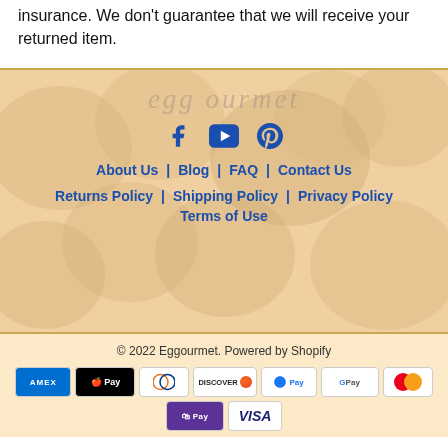insurance. We don't guarantee that we will receive your returned item.
[Figure (logo): egg ourmet brand logo watermark over egg background in footer]
[Figure (infographic): Social media icons: Facebook, YouTube, Pinterest in blue]
About Us   Blog   FAQ   Contact Us
Returns Policy   Shipping Policy   Privacy Policy   Terms of Use
© 2022 Eggourmet. Powered by Shopify
[Figure (infographic): Payment method icons: American Express, Apple Pay, Diners Club, Discover, Meta Pay, Google Pay, Mastercard, Shop Pay, Visa]